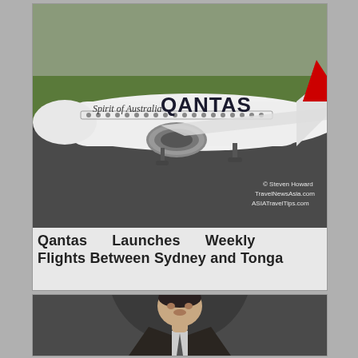[Figure (photo): Qantas Airlines aircraft on tarmac runway. The white plane shows 'Spirit of Australia QANTAS' text on the fuselage. Photo credit: Steven Howard, TravelNewsAsia.com, ASIATravelTips.com]
Qantas Launches Weekly Flights Between Sydney and Tonga
[Figure (photo): Portrait photo of a man in a suit, dark background, cropped at bottom of page]